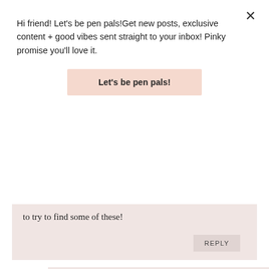Hi friend! Let's be pen pals!Get new posts, exclusive content + good vibes sent straight to your inbox! Pinky promise you'll love it.
Let's be pen pals!
to try to find some of these!
REPLY
SARAH SAID:
9.12.16
Thanks so much Hayden! I totally agree–small projects add up bit by bit. And then you have a home that you